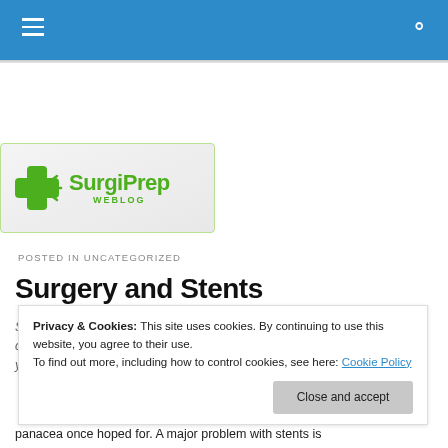SurgiPrep Weblog - navigation header with hamburger menu and search icon
[Figure (logo): SurgiPrep Weblog logo with green medical cross icon and green text]
POSTED IN UNCATEGORIZED
Surgery and Stents
Stents are the high-tech devices implanted in blocked coronary arteries by cardiologists, our high priests of interventional medicine. In the last 3-5 years we've learned unfortunately that coronary stents are not the panacea once hoped for. A major problem with stents is
Privacy & Cookies: This site uses cookies. By continuing to use this website, you agree to their use. To find out more, including how to control cookies, see here: Cookie Policy
Close and accept